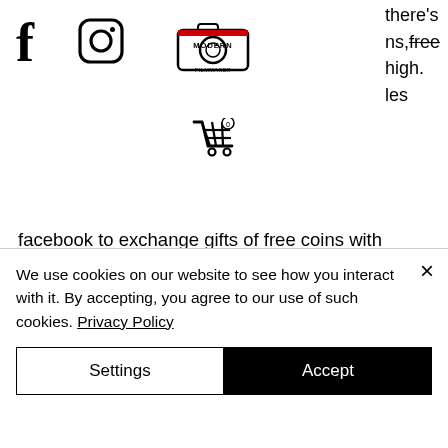[Figure (logo): Facebook F icon, Instagram icon, Modern Filmmaker logo, shopping cart icon in the page header]
there's
ns, free
high.
les
facebook to exchange gifts of free coins with friends or play as a guest! Players are issued free coins on signup and every 4 hours so there's no excuse! start playing the best slots at the best casino on the web today! We provide favorite mod apk generator, facebook support, download for windows pc, royalty stars clubhouse, bounty tokens, apps tricks, cheat codes of 2021 and. Log in with
We use cookies on our website to see how you interact with it. By accepting, you agree to our use of such cookies. Privacy Policy
Settings
Accept